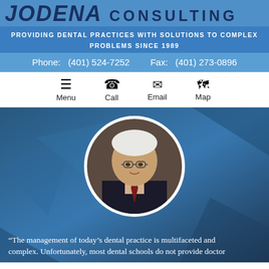JODENA CONSULTING
PROVIDING DENTAL PRACTICES WITH SOLUTIONS TO COMPLEX PROBLEMS SINCE 1989
Phone:   (401) 524-7252     Fax:     (401) 273-0896
Menu   Call   Email   Map
[Figure (photo): Circular portrait photo of an older gentleman with white hair and glasses, wearing a dark suit and tie, on a dark background.]
“The management of today’s dental practice is multifaceted and complex. Unfortunately, most dental schools do not provide doctor